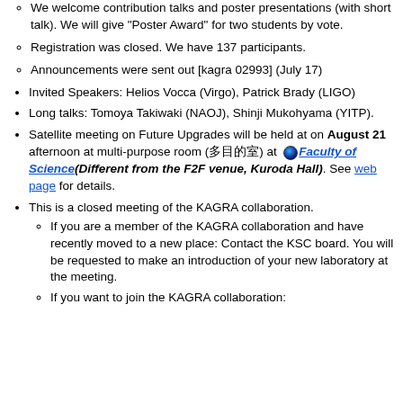We welcome contribution talks and poster presentations (with short talk). We will give "Poster Award" for two students by vote.
Registration was closed. We have 137 participants.
Announcements were sent out [kagra 02993] (July 17)
Invited Speakers: Helios Vocca (Virgo), Patrick Brady (LIGO)
Long talks: Tomoya Takiwaki (NAOJ), Shinji Mukohyama (YITP).
Satellite meeting on Future Upgrades will be held at on August 21 afternoon at multi-purpose room (多目的室) at Faculty of Science (Different from the F2F venue, Kuroda Hall). See web page for details.
This is a closed meeting of the KAGRA collaboration.
If you are a member of the KAGRA collaboration and have recently moved to a new place: Contact the KSC board. You will be requested to make an introduction of your new laboratory at the meeting.
If you want to join the KAGRA collaboration: